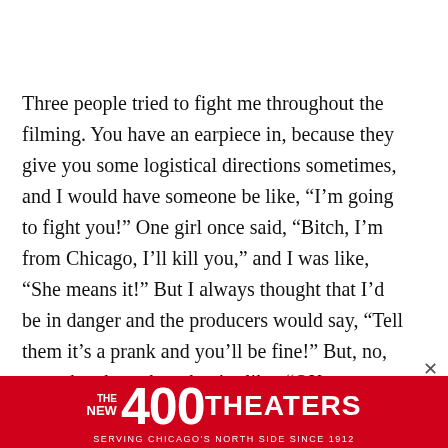Three people tried to fight me throughout the filming. You have an earpiece in, because they give you some logistical directions sometimes, and I would have someone be like, “I’m going to fight you!” One girl once said, “Bitch, I’m from Chicago, I’ll kill you,” and I was like, “She means it!” But I always thought that I’d be in danger and the producers would say, “Tell them it’s a prank and you’ll be fine!” But, no, once they hear that, they’re like, “OK, now really go for it.” My mom, every day, she’ll ask, “Are you safe? Are you
[Figure (other): Advertisement banner for 'The New 400 Theaters - Serving Chicago's North Side Since 1912' with red background and white text.]